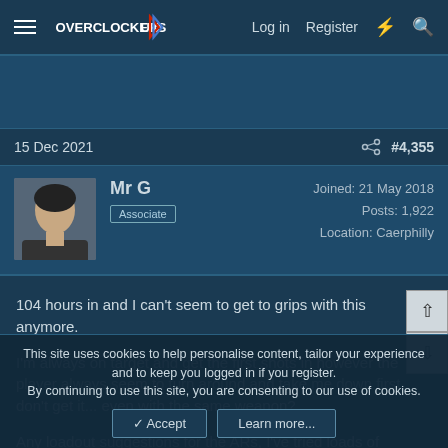Overclockers UK  Log in  Register
[Figure (screenshot): Ad banner area - dark blue background]
15 Dec 2021  #4,355
Mr G
Associate
Joined: 21 May 2018
Posts: 1,922
Location: Caerphilly
104 hours in and I can't seem to get to grips with this anymore.

I'm always on target and get the first shots in however the player always seem to turn around and take me down first, don't get it... even with the same weapon?

Any loadout suggestions for the ARs, I've tried loads of combos?
This site uses cookies to help personalise content, tailor your experience and to keep you logged in if you register.
By continuing to use this site, you are consenting to our use of cookies.